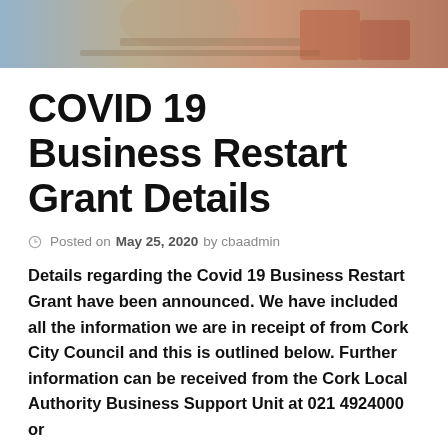[Figure (photo): Partial photo strip at top of page showing blurred office or desk scene with warm tones]
COVID 19 Business Restart Grant Details
Posted on May 25, 2020 by cbaadmin
Details regarding the Covid 19 Business Restart Grant have been announced. We have included all the information we are in receipt of from Cork City Council and this is outlined below. Further information can be received from the Cork Local Authority Business Support Unit at 021 4924000 or